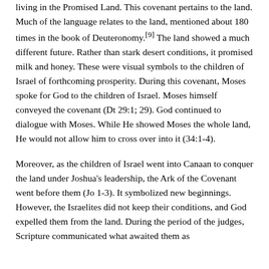living in the Promised Land. This covenant pertains to the land. Much of the language relates to the land, mentioned about 180 times in the book of Deuteronomy.[9] The land showed a much different future. Rather than stark desert conditions, it promised milk and honey. These were visual symbols to the children of Israel of forthcoming prosperity. During this covenant, Moses spoke for God to the children of Israel. Moses himself conveyed the covenant (Dt 29:1; 29). God continued to dialogue with Moses. While He showed Moses the whole land, He would not allow him to cross over into it (34:1-4).
Moreover, as the children of Israel went into Canaan to conquer the land under Joshua's leadership, the Ark of the Covenant went before them (Jo 1-3). It symbolized new beginnings. However, the Israelites did not keep their conditions, and God expelled them from the land. During the period of the judges, Scripture communicated what awaited them as